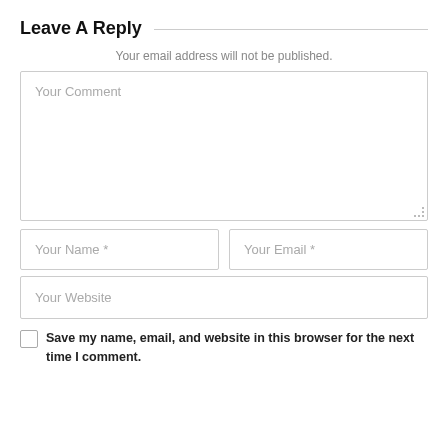Leave A Reply
Your email address will not be published.
Your Comment
Your Name *
Your Email *
Your Website
Save my name, email, and website in this browser for the next time I comment.